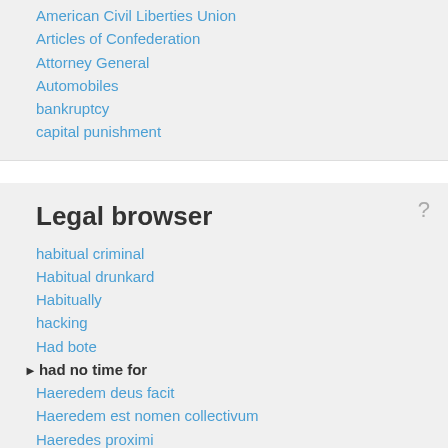American Civil Liberties Union
Articles of Confederation
Attorney General
Automobiles
bankruptcy
capital punishment
Legal browser
habitual criminal
Habitual drunkard
Habitually
hacking
Had bote
had no time for
Haeredem deus facit
Haeredem est nomen collectivum
Haeredes proximi
Haeredes remotiores
Haereditas
Haereditas jacens